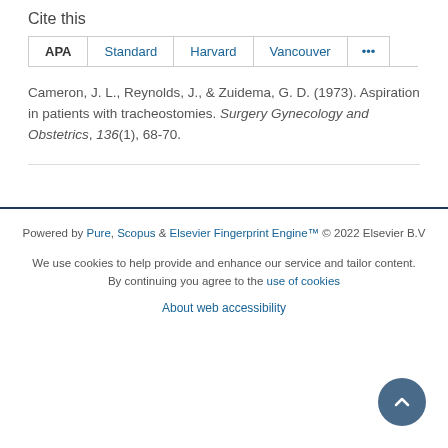Cite this
APA | Standard | Harvard | Vancouver | ...
Cameron, J. L., Reynolds, J., & Zuidema, G. D. (1973). Aspiration in patients with tracheostomies. Surgery Gynecology and Obstetrics, 136(1), 68-70.
Powered by Pure, Scopus & Elsevier Fingerprint Engine™ © 2022 Elsevier B.V
We use cookies to help provide and enhance our service and tailor content. By continuing you agree to the use of cookies
About web accessibility